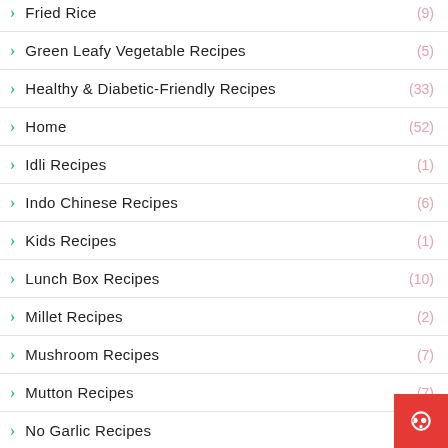Fried Rice (9)
Green Leafy Vegetable Recipes (5)
Healthy & Diabetic-Friendly Recipes (33)
Home (52)
Idli Recipes (1)
Indo Chinese Recipes (6)
Kids Recipes (1)
Lunch Box Recipes (10)
Millet Recipes (2)
Mushroom Recipes (7)
Mutton Recipes (7)
No Garlic Recipes (2)
No Onion (2)
Non-Veg Recipes